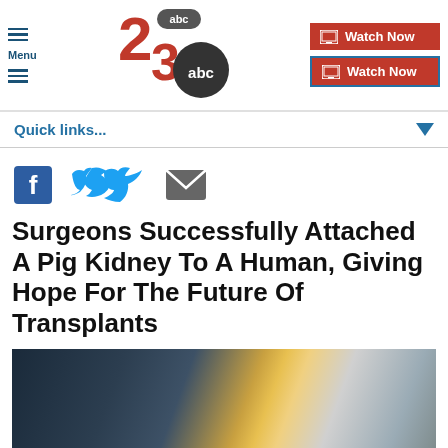Menu | 23ABC | Watch Now | Watch Now
Quick links...
[Figure (infographic): Social share icons: Facebook, Twitter, Email]
Surgeons Successfully Attached A Pig Kidney To A Human, Giving Hope For The Future Of Transplants
[Figure (photo): Blurred image showing a person in a blue outfit with a yellow/white object, likely medical context]